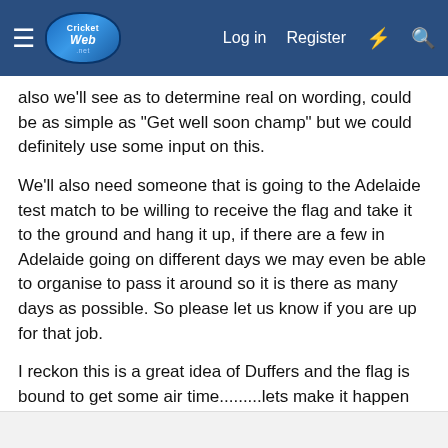CricketWeb — Log in  Register
also we'll see as to determine real on wording, could be as simple as "Get well soon champ" but we could definitely use some input on this.
We'll also need someone that is going to the Adelaide test match to be willing to receive the flag and take it to the ground and hang it up, if there are a few in Adelaide going on different days we may even be able to organise to pass it around so it is there as many days as possible. So please let us know if you are up for that job.
I reckon this is a great idea of Duffers and the flag is bound to get some air time.........lets make it happen CW'ers!!
Edit:
Maybe the mods could sticky this for a couple of days until it is all sorted?